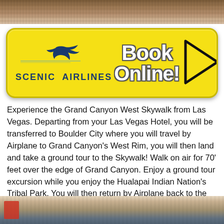[Figure (photo): Aerial or ground view of canyon rock formations, brownish rocky terrain]
[Figure (other): Scenic Airlines 'Book Online!' banner with yellow background, blue eagle logo, and play-button arrow]
Experience the Grand Canyon West Skywalk from Las Vegas. Departing from your Las Vegas Hotel, you will be transferred to Boulder City where you will travel by Airplane to Grand Canyon's West Rim, you will then land and take a ground tour to the Skywalk! Walk on air for 70' feet over the edge of Grand Canyon. Enjoy a ground tour excursion while you enjoy the Hualapai Indian Nation's Tribal Park. You will then return by Airplane back to the Boulder City Municipal Airport and be transferred back to you Hotel in Las Vegas.
[Figure (photo): Landscape photo of Grand Canyon West rim with sky and canyon views, person visible on left edge]